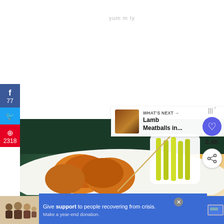[Figure (screenshot): Social media sharing sidebar on the left with Facebook (77 shares), Twitter, and Pinterest (2318 pins) buttons in blue, light blue, and red respectively. Main content shows a food photograph of fried/sauced food items with celery sticks in a white container. Top right has a purple heart save button with 2.4K count and a share button. A 'WHAT'S NEXT' overlay shows 'Lamb Meatballs in...' with a thumbnail. Bottom has a blue advertisement banner reading 'Give support to people recovering from crisis. Make a year-end donation.' with a family photo on the left and a close button.]